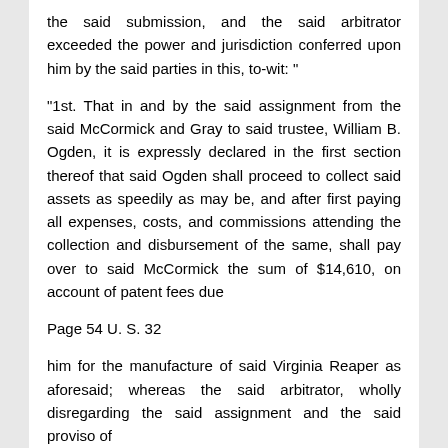the said submission, and the said arbitrator exceeded the power and jurisdiction conferred upon him by the said parties in this, to-wit: "
"1st. That in and by the said assignment from the said McCormick and Gray to said trustee, William B. Ogden, it is expressly declared in the first section thereof that said Ogden shall proceed to collect said assets as speedily as may be, and after first paying all expenses, costs, and commissions attending the collection and disbursement of the same, shall pay over to said McCormick the sum of $14,610, on account of patent fees due
Page 54 U. S. 32
him for the manufacture of said Virginia Reaper as aforesaid; whereas the said arbitrator, wholly disregarding the said assignment and the said proviso of